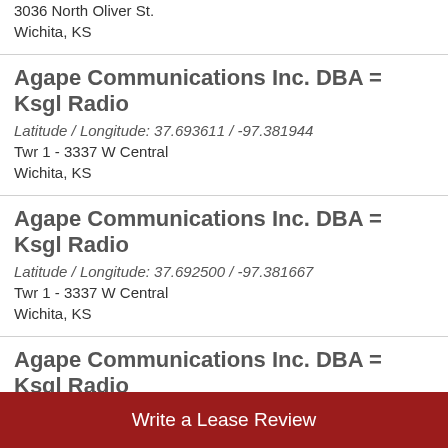3036 North Oliver St.
Wichita, KS
Agape Communications Inc. DBA = Ksgl Radio
Latitude / Longitude: 37.693611 / -97.381944
Twr 1 - 3337 W Central
Wichita, KS
Agape Communications Inc. DBA = Ksgl Radio
Latitude / Longitude: 37.692500 / -97.381667
Twr 1 - 3337 W Central
Wichita, KS
Agape Communications Inc. DBA = Ksgl Radio
Radio
Write a Lease Review